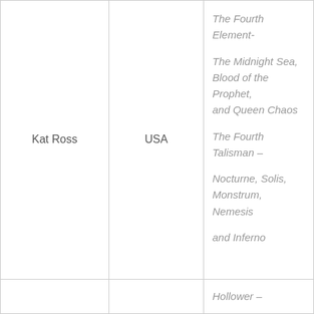| Author | Country | Works |
| --- | --- | --- |
| Kat Ross | USA | The Fourth Element-

The Midnight Sea, Blood of the Prophet, and Queen Chaos

The Fourth Talisman –

Nocturne, Solis, Monstrum, Nemesis

and Inferno |
|  |  | Hollower – |